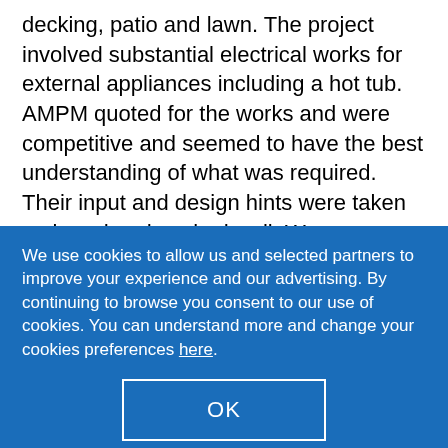decking, patio and lawn. The project involved substantial electrical works for external appliances including a hot tub. AMPM quoted for the works and were competitive and seemed to have the best understanding of what was required. Their input and design hints were taken on board and worked well. We were very satisfied with the performance and finished result.
We use cookies to allow us and selected partners to improve your experience and our advertising. By continuing to browse you consent to our use of cookies. You can understand more and change your cookies preferences here.
OK